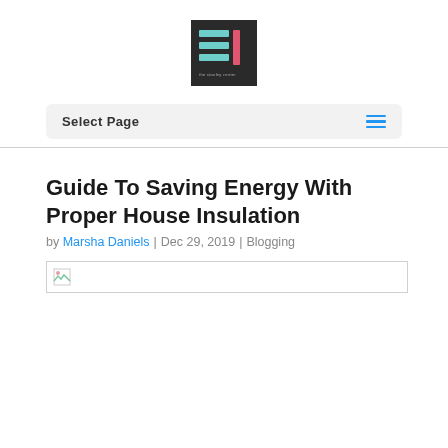[Figure (logo): Square logo with dark background, teal and pink horizontal lines forming a stylized 'EL' shape with small text below]
Select Page
Guide To Saving Energy With Proper House Insulation
by Marsha Daniels | Dec 29, 2019 | Blogging
[Figure (photo): Broken/missing image placeholder]